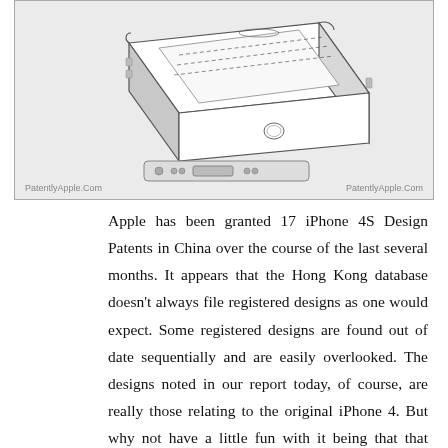[Figure (schematic): Technical patent schematic drawing of an iPhone 4S shown in 3D perspective view (top) and a side/bottom edge view (bottom). Dashed lines indicate design features. Watermarks read 'PatentlyApple.Com' on both lower-left and lower-right.]
Apple has been granted 17 iPhone 4S Design Patents in China over the course of the last several months. It appears that the Hong Kong database doesn't always file registered designs as one would expect. Some registered designs are found out of date sequentially and are easily overlooked. The designs noted in our report today, of course, are really those relating to the original iPhone 4. But why not have a little fun with it being that that Apple decided to use the very same